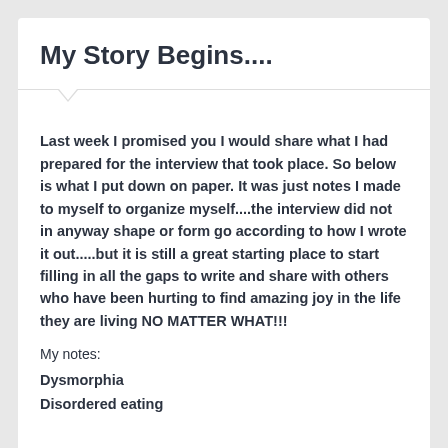My Story Begins....
Last week I promised you I would share what I had prepared for the interview that took place.  So below is what I put down on paper.  It was just notes I made to myself to organize myself....the interview did not in anyway shape or form go according to how I wrote it out.....but it is still a great starting place to start filling in all the gaps to write and share with others who have been hurting to find amazing joy in the life they are living NO MATTER WHAT!!!
My notes:
Dysmorphia
Disordered eating